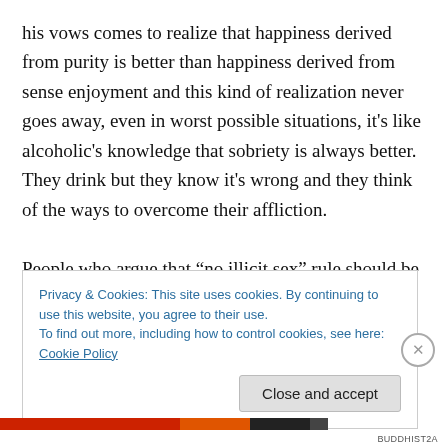his vows comes to realize that happiness derived from purity is better than happiness derived from sense enjoyment and this kind of realization never goes away, even in worst possible situations, it's like alcoholic's knowledge that sobriety is always better. They drink but they know it's wrong and they think of the ways to overcome their affliction.

People who argue that “no illicit sex” rule should be relaxed are like drunks who don’t value sobriety at all. We shouldn’t keep their company just as relapsed alcoholics
Privacy & Cookies: This site uses cookies. By continuing to use this website, you agree to their use.
To find out more, including how to control cookies, see here: Cookie Policy
Close and accept
BUDDHIST2A